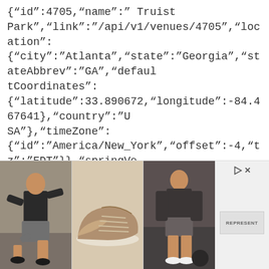{"id":4705,"name":" Truist Park","link":"/api/v1/venues/4705","location": {"city":"Atlanta","state":"Georgia","stateAbbrev":"GA","defaultCoordinates": {"latitude":33.890672,"longitude":-84.467641},"country":"USA"},"timeZone": {"id":"America/New_York","offset":-4,"tz":"EDT"}},"springVenue": {"id":5380,"link":"/api/v1/venues/5380"},"teamCode":"atl","fileCode":"atl","abbreviation":"ATL","teamName":"Braves","locationName":"Atlanta","firstYearOfPlay":"1871","league": {"id":104,"name":"National League","link":"/api/v1/league/104"},"division":
[Figure (photo): Advertisement banner showing three images: person in shorts jumping, suede sneaker shoe, person in shorts standing; with ad controls (play and close icons) and brand logo on the right]